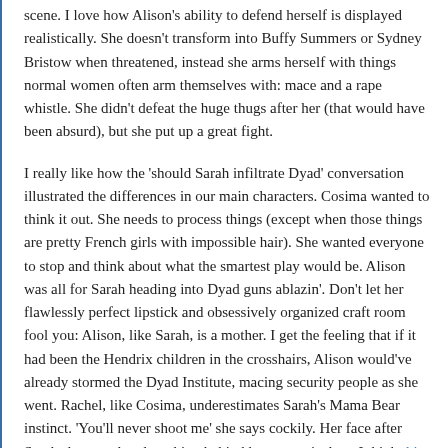scene. I love how Alison's ability to defend herself is displayed realistically. She doesn't transform into Buffy Summers or Sydney Bristow when threatened, instead she arms herself with things normal women often arm themselves with: mace and a rape whistle. She didn't defeat the huge thugs after her (that would have been absurd), but she put up a great fight.
I really like how the 'should Sarah infiltrate Dyad' conversation illustrated the differences in our main characters. Cosima wanted to think it out. She needs to process things (except when those things are pretty French girls with impossible hair). She wanted everyone to stop and think about what the smartest play would be. Alison was all for Sarah heading into Dyad guns ablazin'. Don't let her flawlessly perfect lipstick and obsessively organized craft room fool you: Alison, like Sarah, is a mother. I get the feeling that if it had been the Hendrix children in the crosshairs, Alison would've already stormed the Dyad Institute, macing security people as she went. Rachel, like Cosima, underestimates Sarah's Mama Bear instinct. 'You'll never shoot me' she says cockily. Her face after Sarah shot out the glass thing behind her was priceless. I think this picture sums it up best (nsfw language, via my tumblr).
Let's talk about Tatiana Maslany for a while, shall we? The little distinctions she makes between clones are always on point. I loved her Sarah as Cosima performance. The way she was constantly